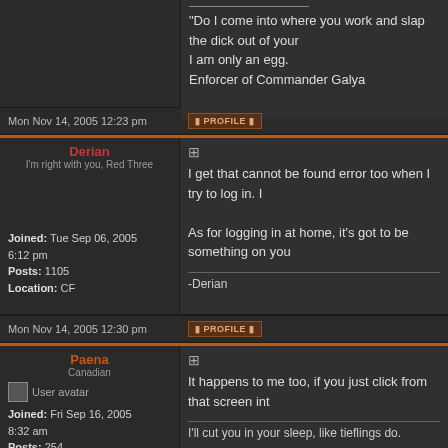"Do I come into where you work and slap the dick out of your
I am only an egg.
Enforcer of Commander Galya
Mon Nov 14, 2005 12:23 pm | PROFILE
Derian
I'm right with you, Red Three
Joined: Tue Sep 06, 2005 6:12 pm
Posts: 1105
Location: CF
I get that cannot be found error too when I try to log in. I
As for logging in at home, it's got to be something on you
-Derian
Mon Nov 14, 2005 12:30 pm | PROFILE
Paena
Canadian
Joined: Fri Sep 16, 2005 8:32 am
Posts: 254
Location: UNI Campus (Rider 240)
It happens to me too, if you just click from that screen int
I'll cut you in your sleep, like tieflings do.